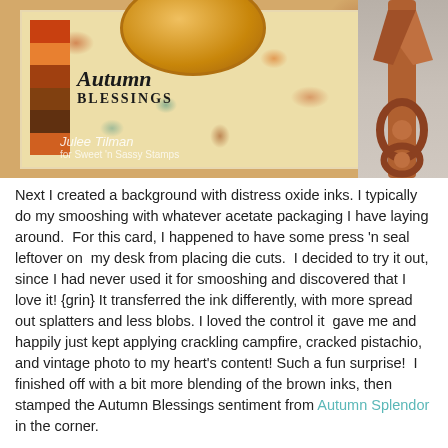[Figure (photo): Craft card with 'Autumn Blessings' handwritten sentiment on a distress oxide ink splattered background in autumn colors (orange, teal, brown, yellow). Decorative golden oval and stripe block visible. Copper/bronze vintage scissors on the right side. Watermark reads 'Julee Tilman for Sweet 'n Sassy Stamps' in lower left of image.]
Next I created a background with distress oxide inks. I typically do my smooshing with whatever acetate packaging I have laying around.  For this card, I happened to have some press 'n seal leftover on  my desk from placing die cuts.  I decided to try it out, since I had never used it for smooshing and discovered that I love it! {grin} It transferred the ink differently, with more spread out splatters and less blobs. I loved the control it  gave me and happily just kept applying crackling campfire, cracked pistachio, and vintage photo to my heart's content! Such a fun surprise!  I finished off with a bit more blending of the brown inks, then stamped the Autumn Blessings sentiment from Autumn Splendor in the corner.